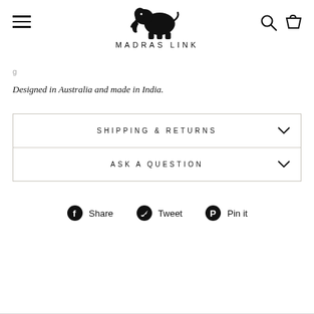MADRAS LINK
Designed in Australia and made in India.
| SHIPPING & RETURNS |
| ASK A QUESTION |
Share  Tweet  Pin it